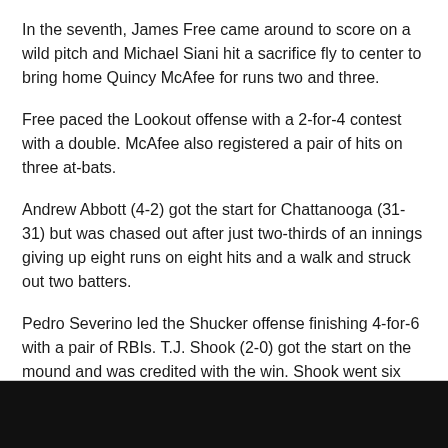In the seventh, James Free came around to score on a wild pitch and Michael Siani hit a sacrifice fly to center to bring home Quincy McAfee for runs two and three.
Free paced the Lookout offense with a 2-for-4 contest with a double. McAfee also registered a pair of hits on three at-bats.
Andrew Abbott (4-2) got the start for Chattanooga (31-31) but was chased out after just two-thirds of an innings giving up eight runs on eight hits and a walk and struck out two batters.
Pedro Severino led the Shucker offense finishing 4-for-6 with a pair of RBIs. T.J. Shook (2-0) got the start on the mound and was credited with the win. Shook went six innings allowing just one run on five hits, with a pair of walks, and struck out seven batters.
Chattanooga looks to bounce back tomorrow as they wrap up the series with Biloxi at AT&T Field beginning at 2:15 p.m.
[Figure (logo): Minor League Baseball logo on black footer bar]